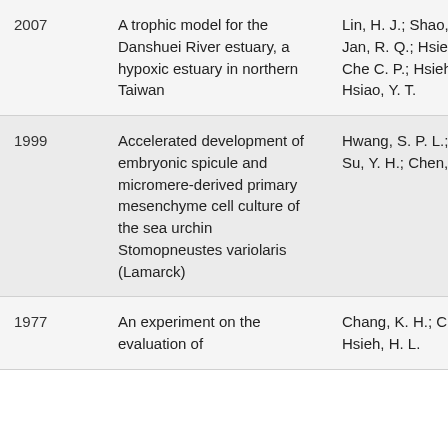| Year | Title | Authors |
| --- | --- | --- |
| 2007 | A trophic model for the Danshuei River estuary, a hypoxic estuary in northern Taiwan | Lin, H. J.; Shao, K. T.; Jan, R. Q.; Hsieh, H. L.; Che C. P.; Hsieh, L. Y.; Hsiao, Y. T. |
| 1999 | Accelerated development of embryonic spicule and micromere-derived primary mesenchyme cell culture of the sea urchin Stomopneustes variolaris (Lamarck) | Hwang, S. P. L.; L Y. C.; Su, Y. H.; Chen, C. P. |
| 1977 | An experiment on the evaluation of | Chang, K. H.; Ch C. P.; Hsieh, H. L. |